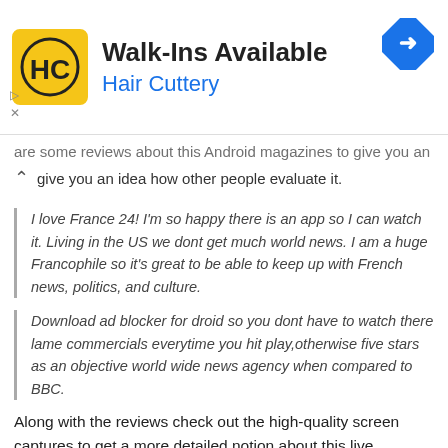[Figure (illustration): Hair Cuttery advertisement banner with yellow HC logo, 'Walk-Ins Available' headline, 'Hair Cuttery' subtitle in blue, and a blue navigation sign icon in top right.]
are some reviews about this Android magazines to give you an idea how other people evaluate it.
I love France 24! I'm so happy there is an app so I can watch it. Living in the US we dont get much world news. I am a huge Francophile so it's great to be able to keep up with French news, politics, and culture.
Download ad blocker for droid so you dont have to watch there lame commercials everytime you hit play,otherwise five stars as an objective world wide news agency when compared to BBC.
Along with the reviews check out the high-quality screen captures to get a more detailed notion about this live international app.